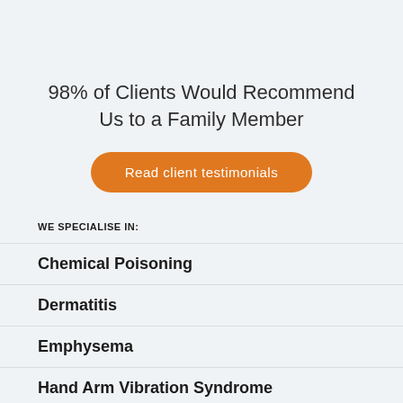98% of Clients Would Recommend Us to a Family Member
Read client testimonials
WE SPECIALISE IN:
Chemical Poisoning
Dermatitis
Emphysema
Hand Arm Vibration Syndrome
Mesothelioma